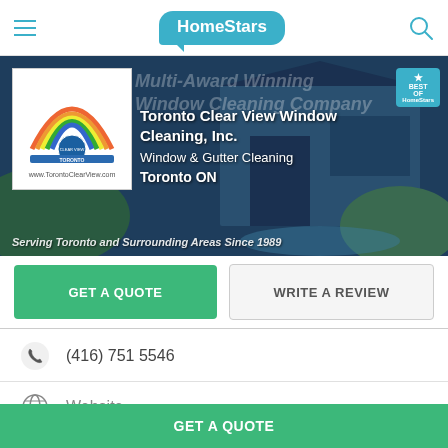HomeStars
[Figure (screenshot): Hero banner showing Toronto Clear View Window Cleaning Inc. company banner with house background, company logo box on left, and Best of HomeStars badge on right]
Toronto Clear View Window Cleaning, Inc.
Window & Gutter Cleaning
Toronto ON
Serving Toronto and Surrounding Areas Since 1989
GET A QUOTE
WRITE A REVIEW
(416) 751 5546
Website
GET A QUOTE